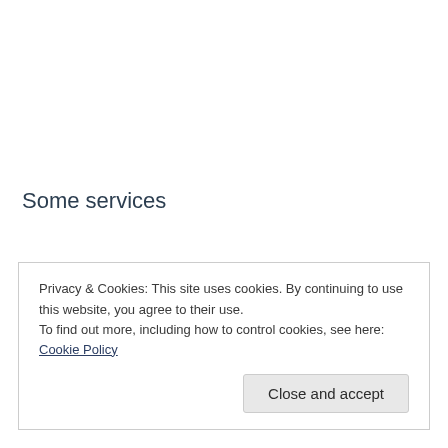Some services
Privacy & Cookies: This site uses cookies. By continuing to use this website, you agree to their use.
To find out more, including how to control cookies, see here: Cookie Policy
Close and accept